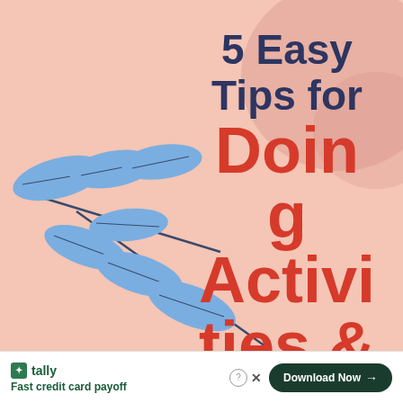[Figure (illustration): Decorative image with peach/salmon background, large blue botanical leaf/branch illustration on left side, pink circular blob shapes in upper right. Text overlay reads '5 Easy Tips for Doing Activities & Craft' with dark navy and red large bold typography.]
5 Easy Tips for Doing Activities & Craft
tally Fast credit card payoff Download Now →